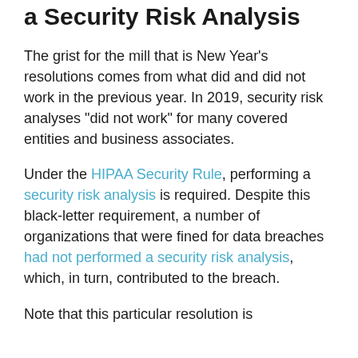a Security Risk Analysis
The grist for the mill that is New Year’s resolutions comes from what did and did not work in the previous year. In 2019, security risk analyses “did not work” for many covered entities and business associates.
Under the HIPAA Security Rule, performing a security risk analysis is required. Despite this black-letter requirement, a number of organizations that were fined for data breaches had not performed a security risk analysis, which, in turn, contributed to the breach.
Note that this particular resolution is